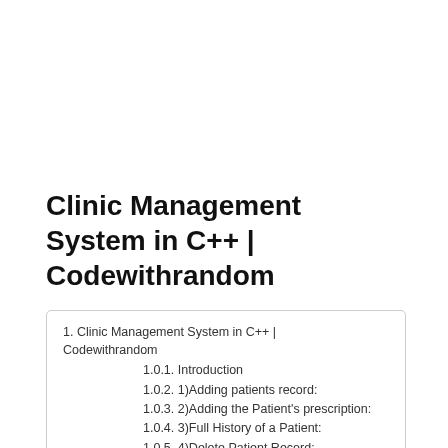Clinic Management System in C++ | Codewithrandom
1. Clinic Management System in C++ | Codewithrandom
1.0.1. Introduction
1.0.2. 1)Adding patients record:
1.0.3. 2)Adding the Patient's prescription:
1.0.4. 3)Full History of a Patient:
1.0.5. 4)Delete Patient Record:
1.0.6. 5) Update Patient Record